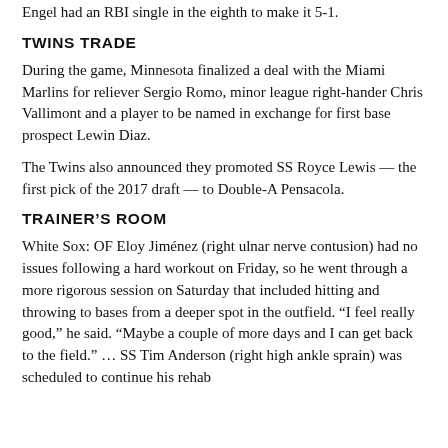Engel had an RBI single in the eighth to make it 5-1.
TWINS TRADE
During the game, Minnesota finalized a deal with the Miami Marlins for reliever Sergio Romo, minor league right-hander Chris Vallimont and a player to be named in exchange for first base prospect Lewin Diaz.
The Twins also announced they promoted SS Royce Lewis — the first pick of the 2017 draft — to Double-A Pensacola.
TRAINER'S ROOM
White Sox: OF Eloy Jiménez (right ulnar nerve contusion) had no issues following a hard workout on Friday, so he went through a more rigorous session on Saturday that included hitting and throwing to bases from a deeper spot in the outfield. “I feel really good,” he said. “Maybe a couple of more days and I can get back to the field.” … SS Tim Anderson (right high ankle sprain) was scheduled to continue his rehab